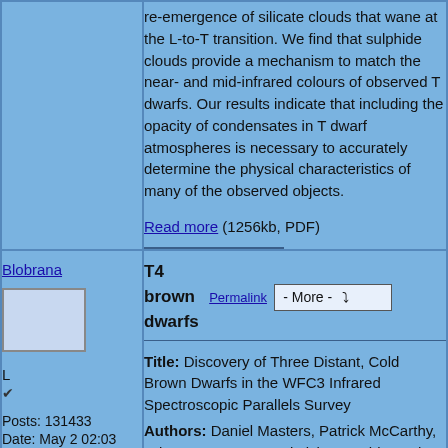re-emergence of silicate clouds that wane at the L-to-T transition. We find that sulphide clouds provide a mechanism to match the near- and mid-infrared colours of observed T dwarfs. Our results indicate that including the opacity of condensates in T dwarf atmospheres is necessary to accurately determine the physical characteristics of many of the observed objects.
Read more (1256kb, PDF)
Blobrana
L
✔
Posts: 131433
Date: May 2 02:03 2012
T4 brown dwarfs
Permalink
- More -
Title: Discovery of Three Distant, Cold Brown Dwarfs in the WFC3 Infrared Spectroscopic Parallels Survey
Authors: Daniel Masters, Patrick McCarthy, Adam J. Burgasser, Nimish P. Hathi, Matthew Malkan, Nathaniel